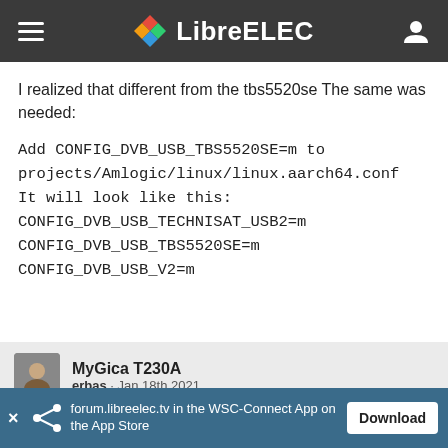LibreELEC
I realized that different from the tbs5520se The same was needed:
Add CONFIG_DVB_USB_TBS5520SE=m to projects/Amlogic/linux/linux.aarch64.conf
It will look like this:
CONFIG_DVB_USB_TECHNISAT_USB2=m
CONFIG_DVB_USB_TBS5520SE=m
CONFIG_DVB_USB_V2=m
MyGica T230A
erbas · Jan 18th 2021
forum.libreelec.tv in the WSC-Connect App on the App Store  Download